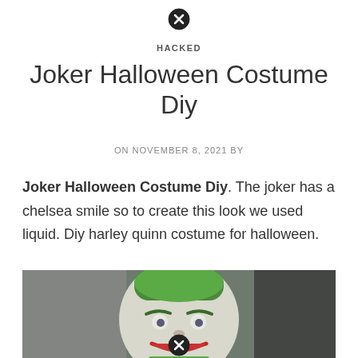✕ (close button)
HACKED
Joker Halloween Costume Diy
ON NOVEMBER 8, 2021 BY
Joker Halloween Costume Diy. The joker has a chelsea smile so to create this look we used liquid. Diy harley quinn costume for halloween.
[Figure (photo): Person dressed as the Joker with green hair and white face paint with red smile makeup, wearing a green collar. Another person visible in background wearing black shirt.]